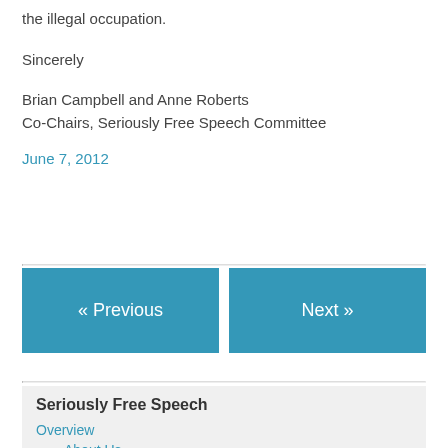the illegal occupation.
Sincerely
Brian Campbell and Anne Roberts
Co-Chairs, Seriously Free Speech Committee
June 7, 2012
« Previous
Next »
Seriously Free Speech
Overview
About Us
Donate
Events
Honourary Members
SFSC Activities